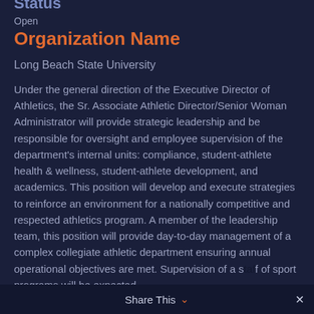Status
Open
Organization Name
Long Beach State University
Under the general direction of the Executive Director of Athletics, the Sr. Associate Athletic Director/Senior Woman Administrator will provide strategic leadership and be responsible for oversight and employee supervision of the department's internal units: compliance, student-athlete health & wellness, student-athlete development, and academics. This position will develop and execute strategies to reinforce an environment for a nationally competitive and respected athletics program. A member of the leadership team, this position will provide day-to-day management of a complex collegiate athletic department ensuring annual operational objectives are met. Supervision of a staff of sport programs will be expected.
Share This ∨  ✕